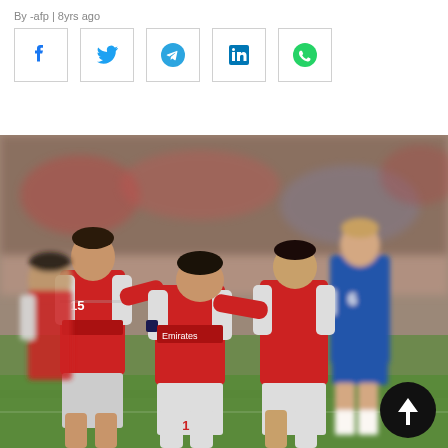By -afp | 8yrs ago
[Figure (other): Social media share buttons: Facebook, Twitter, Telegram, LinkedIn, WhatsApp]
[Figure (photo): Arsenal football players in red jerseys celebrating/consoling each other on a football pitch. One player wears number 15 (Chamberlain) jersey. An opposing player in blue stands in the background. Crowd visible in the stands.]